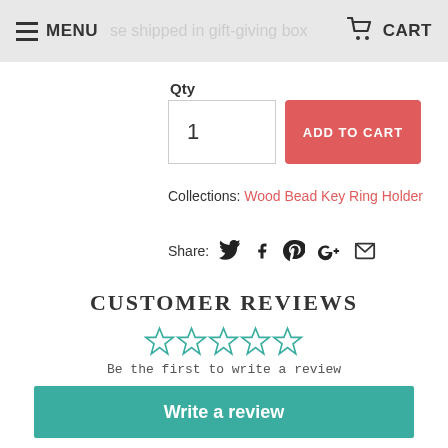MENU   CART
Qty
1
ADD TO CART
Collections: Wood Bead Key Ring Holder
Share:
CUSTOMER REVIEWS
Be the first to write a review
Write a review